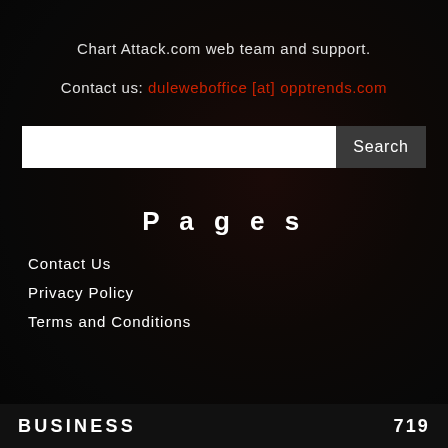Chart Attack.com web team and support.
Contact us: duleweboffice [at] opptrends.com
Search
Pages
Contact Us
Privacy Policy
Terms and Conditions
BUSINESS   719